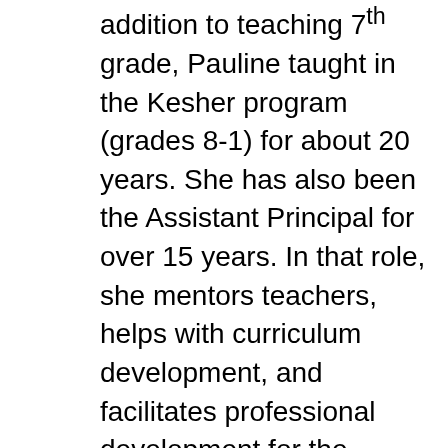addition to teaching 7th grade, Pauline taught in the Kesher program (grades 8-1) for about 20 years. She has also been the Assistant Principal for over 15 years. In that role, she mentors teachers, helps with curriculum development, and facilitates professional development for the faculty.  Pauline is also an experienced b'nai mitzvah tutor. Pauline's love of teaching led her to spend two years at the Hillel School as the Hebrew language teacher. Pauline received the Grinspoon-Steinhardt Award for Excellence in Jewish Education in 2011. As a result of this award, Pauline